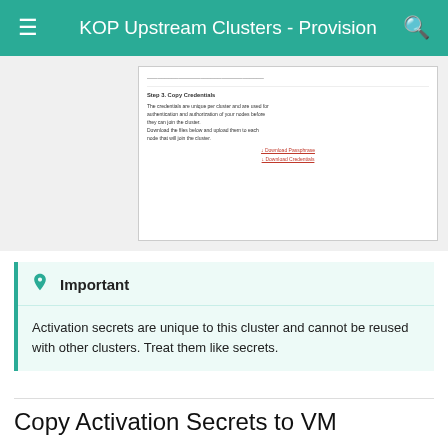KOP Upstream Clusters - Provision
[Figure (screenshot): Screenshot showing Step 3: Copy Credentials UI with text about credentials being unique per cluster, used for authentication and authorization of nodes before they join the cluster. Includes Download Passphrase and Download Credentials links.]
Important
Activation secrets are unique to this cluster and cannot be reused with other clusters. Treat them like secrets.
Copy Activation Secrets to VM
In this step, we will use SCP to copy the two activation secret files to the VM on Virtual Box
scp -P 45555 <file_1> <file_2> refoy_admin@127.0.0.1: